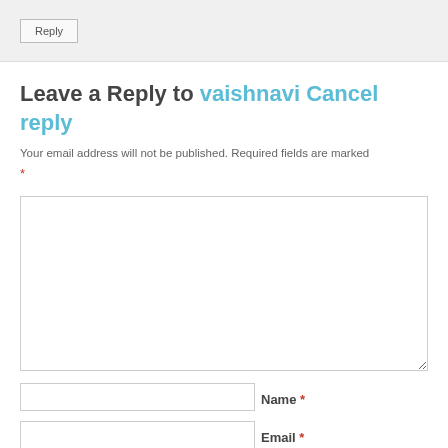Reply
Leave a Reply to vaishnavi Cancel reply
Your email address will not be published. Required fields are marked *
(comment textarea — empty)
Name *
Email *